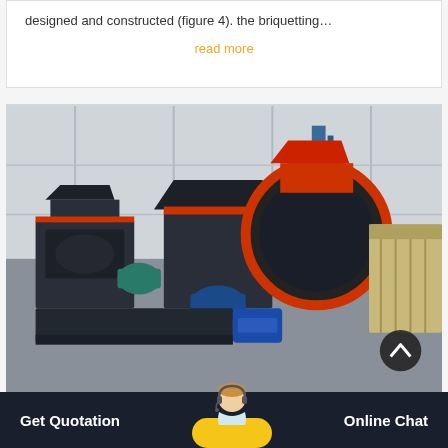designed and constructed (figure 4). the briquetting…
read more
[Figure (photo): Industrial machinery in a warehouse: briquetting machines and crushers (black machines with red accents, and a beige jaw crusher) on a factory floor with grey corrugated walls and blue steel framing.]
Get Quotation
Online Chat